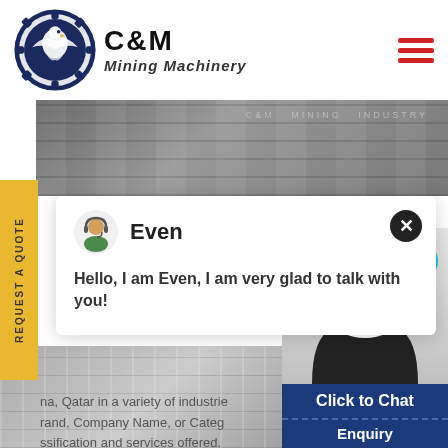[Figure (logo): C&M Mining Machinery logo with eagle in gear circle, dark navy blue, with company name in bold black text]
[Figure (photo): Industrial steel/machinery banner photo in grayscale with text overlay 'C&M MINING INDUSTRY']
[Figure (screenshot): Chat popup widget showing avatar of agent named 'Even' with message: Hello, I am Even, I am very glad to talk with you!]
na, Qatar in a variety of industrie
rand, Company Name, or Cate
ssification and services offered.
[Figure (photo): Bottom left: grayscale photo of industrial shelving or machinery]
[Figure (photo): Right side: female customer service agent with headset, smiling, with blue notification badge showing '1', 'Click to Chat' button in dark blue, and 'Enquiry' bar below]